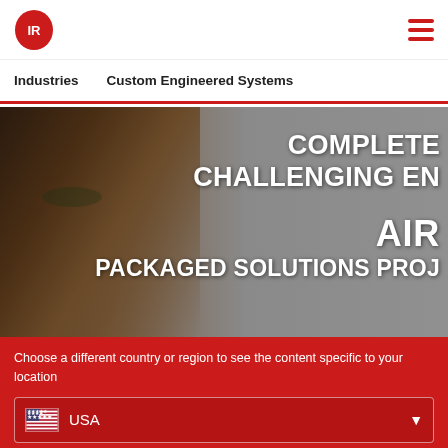[Figure (logo): Ingersoll Rand logo with IR circular emblem and red wordmark]
[Figure (illustration): Hamburger menu icon with three red horizontal lines]
Industries
Custom Engineered Systems
[Figure (photo): Hero image: close-up of a woman's face on grey background with overlaid white bold text reading COMPLETE CHALLENGING E... AIR PACKAGED SOLUTIONS PROJ...]
Choose a different country or region to see the content specific to your location
[Figure (illustration): USA country selector dropdown with US flag icon and dropdown arrow]
Continue